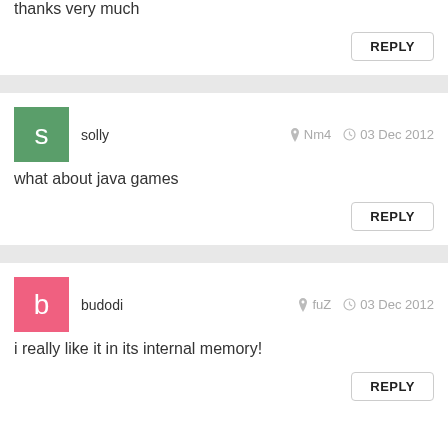thanks very much
REPLY
solly   Nm4   03 Dec 2012
what about java games
REPLY
budodi   fuZ   03 Dec 2012
i really like it in its internal memory!
REPLY